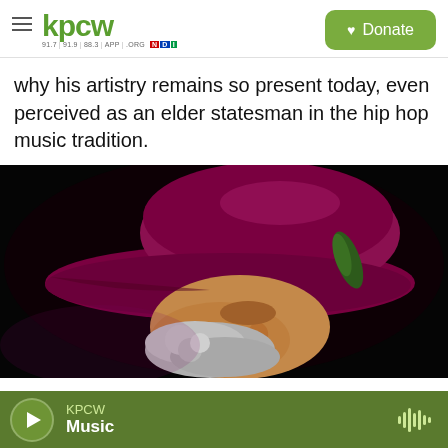KPCW 91.7 | 91.9 | 88.3 | APP | .ORG [NPR] — Donate
why his artistry remains so present today, even perceived as an elder statesman in the hip hop music tradition.
[Figure (photo): A man wearing a large-brimmed dark red/maroon velvet hat with a green feather, with grey curly hair and beard, photographed in profile against a black background.]
KPCW Music — audio player bar